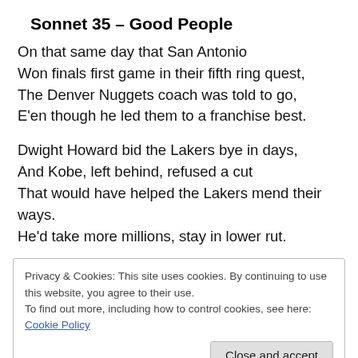Sonnet 35 – Good People
On that same day that San Antonio
Won finals first game in their fifth ring quest,
The Denver Nuggets coach was told to go,
E'en though he led them to a franchise best.
Dwight Howard bid the Lakers bye in days,
And Kobe, left behind, refused a cut
That would have helped the Lakers mend their ways.
He'd take more millions, stay in lower rut.
Privacy & Cookies: This site uses cookies. By continuing to use this website, you agree to their use.
To find out more, including how to control cookies, see here: Cookie Policy
Good people always bring about good things: